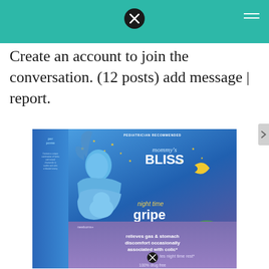Create an account to join the conversation. (12 posts) add message | report.
[Figure (photo): Product photo of Mommy's Bliss Night Time Gripe Water box. Blue box with an illustration of a mother holding a baby under stars and a crescent moon. Text on front reads: PEDIATRICIAN RECOMMENDED, mommy's BLISS, night time gripe water, natural, newborns+, relieves gas & stomach discomfort occasionally associated with colic*, promotes night time rest*, 100% drug free. Purple section at bottom.]